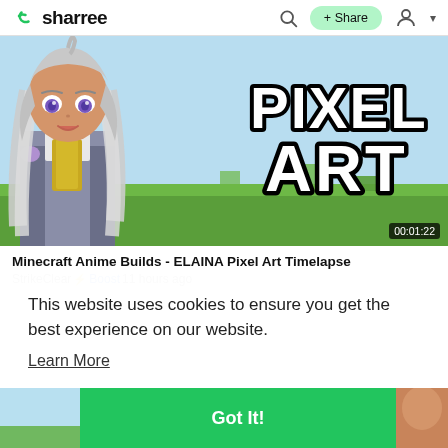sharree
[Figure (screenshot): Video thumbnail showing anime character (Elaina) with white/silver hair and purple eyes on left side, and large bold white text with black outline reading 'PIXEL ART' on right side, with green grassy background. Duration overlay shows 00:01:22.]
Minecraft Anime Builds - ELAINA Pixel Art Timelapse
StrikeClear ⚡ Boost11 hours ago
This website uses cookies to ensure you get the best experience on our website.
Learn More
Got It!